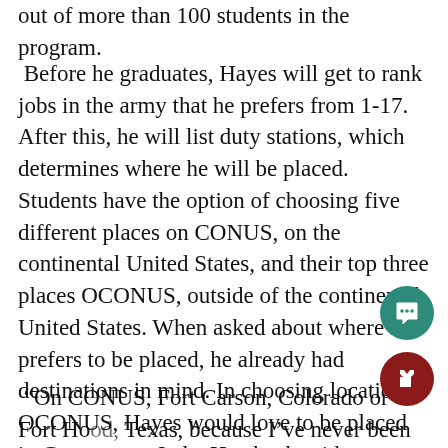out of more than 100 students in the program.
Before he graduates, Hayes will get to rank jobs in the army that he prefers from 1-17. After this, he will list duty stations, which determines where he will be placed. Students have the option of choosing five different places on CONUS, on the continental United States, and their top three places OCONUS, outside of the continental United States. When asked about where he prefers to be placed, he already had destinations in mind. In choosing locations OCONUS, Hayes would love to be placed in Germany or Italy. He also has ideas on where he would like to go if placed on CONUS.
“On CONUS, Fort Carson, Colorado or Fort Ho... Texas, because I’ve never been to Texas, and I like to see what all the upshaw is about,” he said...